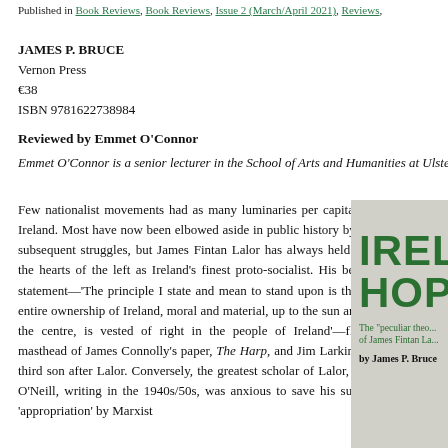Published in Book Reviews, Book Reviews, Issue 2 (March/April 2021), Reviews,
JAMES P. BRUCE
Vernon Press
€38
ISBN 9781622738984
Reviewed by Emmet O'Connor
Emmet O'Connor is a senior lecturer in the School of Arts and Humanities at Ulster
Few nationalist movements had as many luminaries per capita as Young Ireland. Most have now been elbowed aside in public history by heroes of subsequent struggles, but James Fintan Lalor has always held a place in the hearts of the left as Ireland's finest proto-socialist. His best-known statement—'The principle I state and mean to stand upon is this: that the entire ownership of Ireland, moral and material, up to the sun and down to the centre, is vested of right in the people of Ireland'—flanked the masthead of James Connolly's paper, The Harp, and Jim Larkin called his third son after Lalor. Conversely, the greatest scholar of Lalor, Thomas P. O'Neill, writing in the 1940s/50s, was anxious to save his subject from 'appropriation' by Marxist
[Figure (illustration): Book cover of 'Ireland's Hope' with green bold title text on grey background, subtitle 'The peculiar theo... of James Fintan La...' and 'by James P. Bruce']